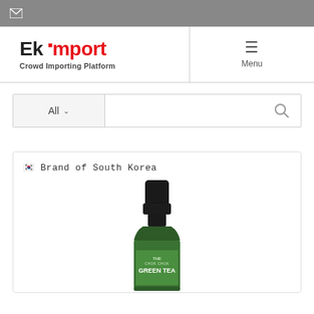[Figure (logo): Ekimport logo with text 'Crowd Importing Platform']
Menu
All
🇰🇷 Brand of South Korea
[Figure (photo): Product bottle - THE CHOK CHOK GREEN TEA in dark green bottle with black cap]